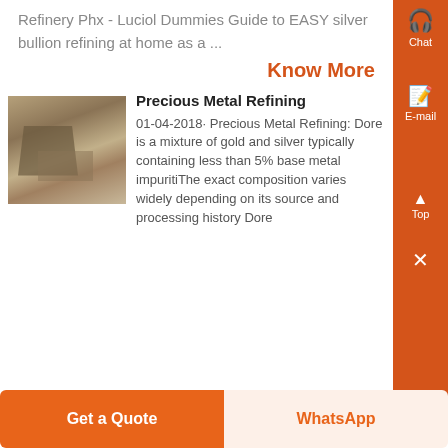Refinery Phx - Luciol Dummies Guide to EASY silver bullion refining at home as a ...
Know More
[Figure (photo): Outdoor mineral/metal processing equipment at a mining or refinery site, showing heavy machinery in sandy/rocky terrain]
Precious Metal Refining
01-04-2018· Precious Metal Refining: Dore is a mixture of gold and silver typically containing less than 5% base metal impuritiThe exact composition varies widely depending on its source and processing history Dore